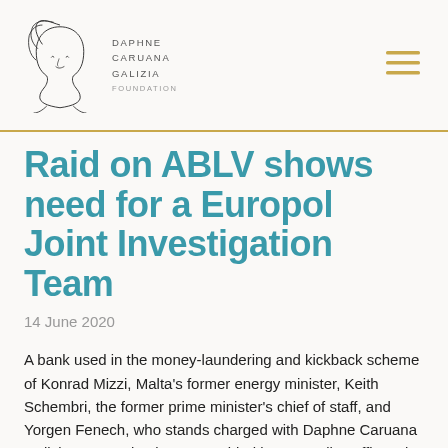Daphne Caruana Galizia Foundation
Raid on ABLV shows need for a Europol Joint Investigation Team
14 June 2020
A bank used in the money-laundering and kickback scheme of Konrad Mizzi, Malta's former energy minister, Keith Schembri, the former prime minister's chief of staff, and Yorgen Fenech, who stands charged with Daphne Caruana Galizia's assassination, was raided by 300 police officers in Riga, Latvia on 13 June.
The ABLV Bank raid follows 21...